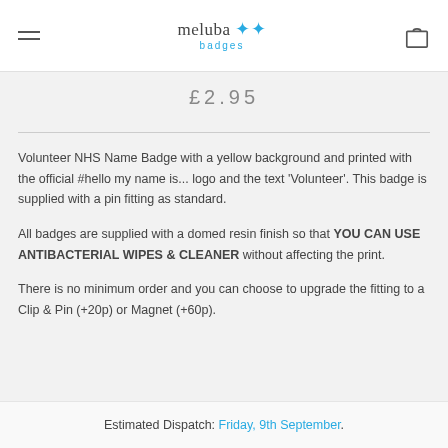meluba badges
£2.95
Volunteer NHS Name Badge with a yellow background and printed with the official #hello my name is... logo and the text 'Volunteer'. This badge is supplied with a pin fitting as standard.
All badges are supplied with a domed resin finish so that YOU CAN USE ANTIBACTERIAL WIPES & CLEANER without affecting the print.
There is no minimum order and you can choose to upgrade the fitting to a Clip & Pin (+20p) or Magnet (+60p).
Estimated Dispatch: Friday, 9th September.